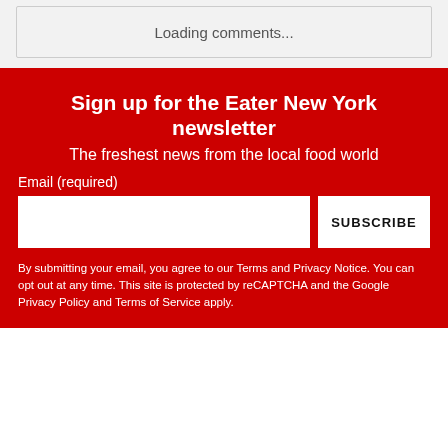Loading comments...
Sign up for the Eater New York newsletter
The freshest news from the local food world
Email (required)
SUBSCRIBE
By submitting your email, you agree to our Terms and Privacy Notice. You can opt out at any time. This site is protected by reCAPTCHA and the Google Privacy Policy and Terms of Service apply.